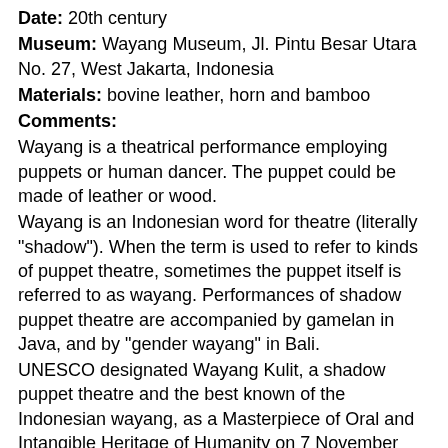Date: 20th century
Museum: Wayang Museum, Jl. Pintu Besar Utara No. 27, West Jakarta, Indonesia
Materials: bovine leather, horn and bamboo
Comments:
Wayang is a theatrical performance employing puppets or human dancer. The puppet could be made of leather or wood.
Wayang is an Indonesian word for theatre (literally "shadow"). When the term is used to refer to kinds of puppet theatre, sometimes the puppet itself is referred to as wayang. Performances of shadow puppet theatre are accompanied by gamelan in Java, and by "gender wayang" in Bali.
UNESCO designated Wayang Kulit, a shadow puppet theatre and the best known of the Indonesian wayang, as a Masterpiece of Oral and Intangible Heritage of Humanity on 7 November 2003. In return of the acknowledgment, UNESCO demanded Indonesia to preserve their heritage.
History of the Wayang Kulit:
Wayang is a generic term denoting traditional theatre in Indonesia. The wayang kulit is a puppet made of...